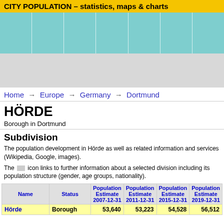CITY POPULATION – statistics, maps & charts
[Figure (other): Navigation chart area with teal/cyan colored columns]
[Figure (other): Advertisement or map area, light gray]
Home → Europe → Germany → Dortmund
HÖRDE
Borough in Dortmund
Subdivision
The population development in Hörde as well as related information and services (Wikipedia, Google, images).
The icon links to further information about a selected division including its population structure (gender, age groups, nationality).
| Name | Status | Population Estimate 2007-12-31 | Population Estimate 2011-12-31 | Population Estimate 2015-12-31 | Population Estimate 2019-12-31 |
| --- | --- | --- | --- | --- | --- |
| Hörde | Borough | 53,640 | 53,223 | 54,528 | 56,512 |